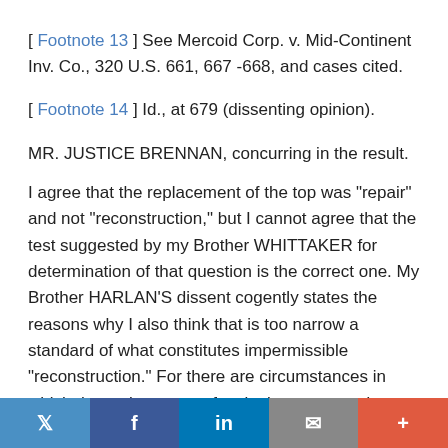[ Footnote 13 ] See Mercoid Corp. v. Mid-Continent Inv. Co., 320 U.S. 661, 667 -668, and cases cited.
[ Footnote 14 ] Id., at 679 (dissenting opinion).
MR. JUSTICE BRENNAN, concurring in the result.
I agree that the replacement of the top was "repair" and not "reconstruction," but I cannot agree that the test suggested by my Brother WHITTAKER for determination of that question is the correct one. My Brother HARLAN'S dissent cogently states the reasons why I also think that is too narrow a standard of what constitutes impermissible "reconstruction." For there are circumstances in which the replacement of a single unpatented component of a patented combination short of a second creation of the patented entity may constitute "reconstruction." Leeds &
Twitter  Facebook  in  Email  +